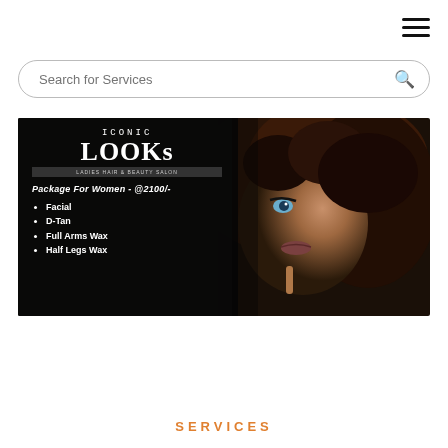[Figure (other): Hamburger menu icon with three horizontal bars in top-right corner]
Search for Services
[Figure (photo): Promotional banner for Iconic LOOKs Ladies Hair & Beauty Salon. Text: ICONIC LOOKs, LADIES HAIR & BEAUTY SALON, Package For Women - @2100/-, Facial, D-Tan, Full Arms Wax, Half Legs Wax. Right side shows a close-up of a woman's face with curly dark hair and dramatic makeup.]
SERVICES